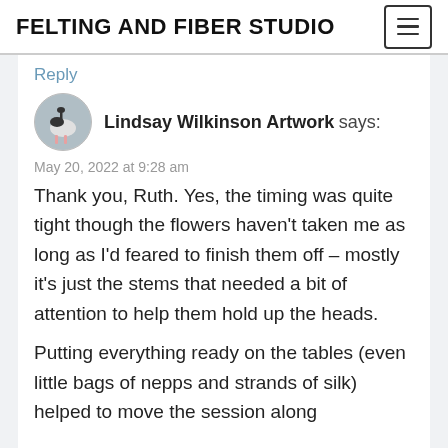FELTING AND FIBER STUDIO
Reply
Lindsay Wilkinson Artwork says:
May 20, 2022 at 9:28 am
Thank you, Ruth. Yes, the timing was quite tight though the flowers haven't taken me as long as I'd feared to finish them off – mostly it's just the stems that needed a bit of attention to help them hold up the heads.
Putting everything ready on the tables (even little bags of nepps and strands of silk) helped to move the session along